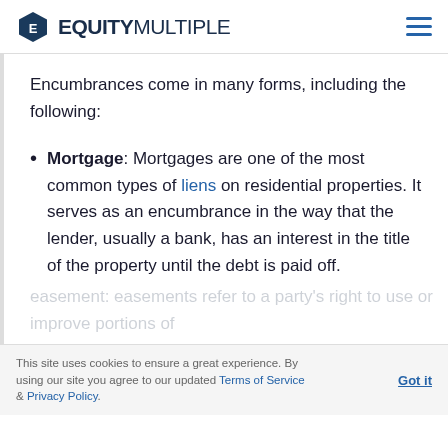EQUITYMULTIPLE
Encumbrances come in many forms, including the following:
Mortgage: Mortgages are one of the most common types of liens on residential properties. It serves as an encumbrance in the way that the lender, usually a bank, has an interest in the title of the property until the debt is paid off.
This site uses cookies to ensure a great experience. By using our site you agree to our updated Terms of Service & Privacy Policy. Got it